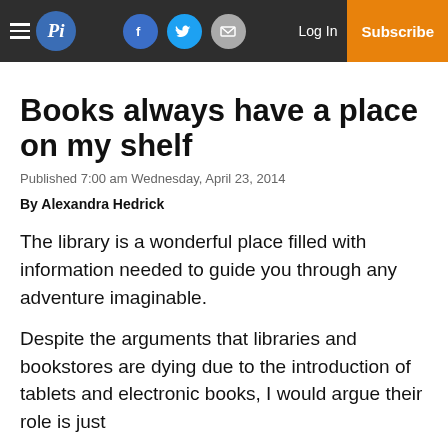Pi — navigation bar with logo, social icons, Log In, Subscribe
Books always have a place on my shelf
Published 7:00 am Wednesday, April 23, 2014
By Alexandra Hedrick
The library is a wonderful place filled with information needed to guide you through any adventure imaginable.
Despite the arguments that libraries and bookstores are dying due to the introduction of tablets and electronic books, I would argue their role is just